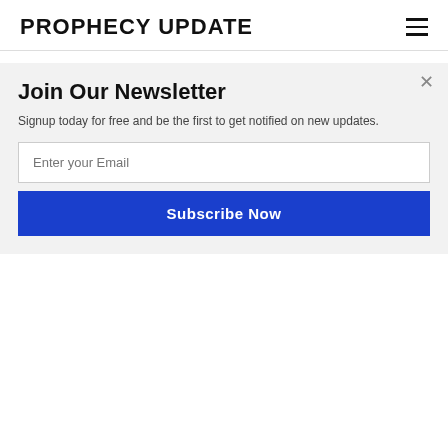PROPHECY UPDATE
I found Ivermectin searching “Ivermectin for humans” at amazon.com.
There is also an apple-flavored paste, and a reader told me about a nurse that puts it in peanut butter.
I am just passing thi… for people to make their…
[Figure (other): POWERED BY SUMO banner overlay]
Join Our Newsletter
Signup today for free and be the first to get notified on new updates.
Enter your Email
Subscribe Now